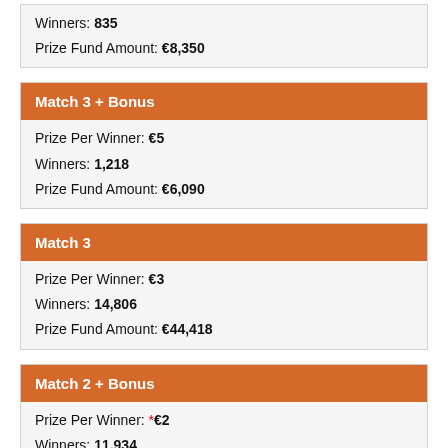Winners: 835
Prize Fund Amount: €8,350
Match 3 + Bonus
Prize Per Winner: €5
Winners: 1,218
Prize Fund Amount: €6,090
Match 3
Prize Per Winner: €3
Winners: 14,806
Prize Fund Amount: €44,418
Match 2 + Bonus
Prize Per Winner: *€2
Winners: 11,934